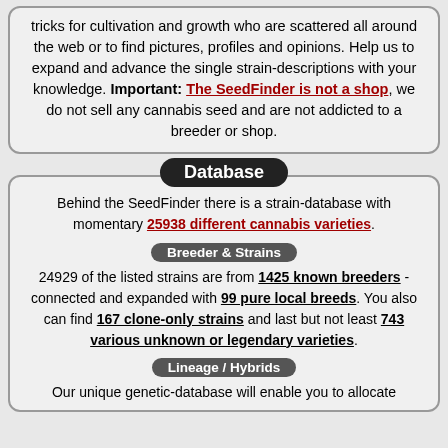tricks for cultivation and growth who are scattered all around the web or to find pictures, profiles and opinions. Help us to expand and advance the single strain-descriptions with your knowledge. Important: The SeedFinder is not a shop, we do not sell any cannabis seed and are not addicted to a breeder or shop.
Database
Behind the SeedFinder there is a strain-database with momentary 25938 different cannabis varieties.
Breeder & Strains
24929 of the listed strains are from 1425 known breeders - connected and expanded with 99 pure local breeds. You also can find 167 clone-only strains and last but not least 743 various unknown or legendary varieties.
Lineage / Hybrids
Our unique genetic-database will enable you to allocate